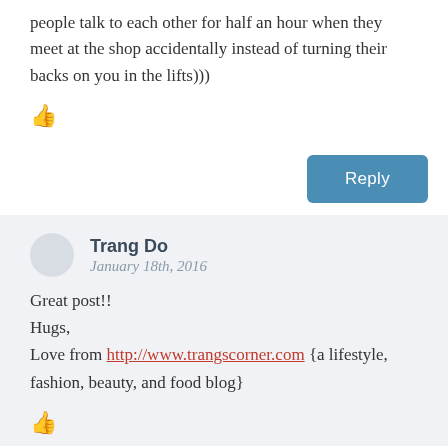people talk to each other for half an hour when they meet at the shop accidentally instead of turning their backs on you in the lifts)))
[Figure (illustration): Thumbs up / like icon in dark gray]
Reply
Trang Do
January 18th, 2016
Great post!!
Hugs,
Love from http://www.trangscorner.com {a lifestyle, fashion, beauty, and food blog}
[Figure (illustration): Thumbs up / like icon in dark gray]